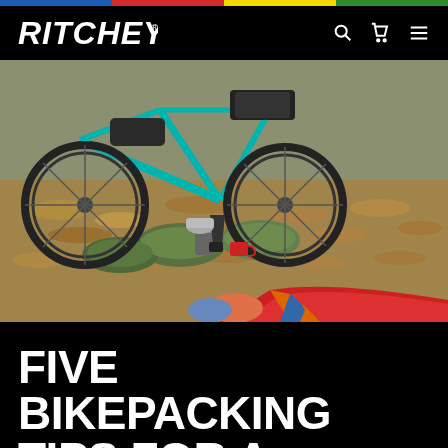RITCHEY
[Figure (photo): Bikepacking scene: a teal/cyan bicycle leaning against a mossy stone wall surrounded by fallen leaves. In the foreground, camping cooking equipment on the ground including a camp stove, coffee dripper, and red enamel mug. A person in a red sleeping bag lies in the lower right corner.]
FIVE BIKEPACKING TIPS FOR A GREAT